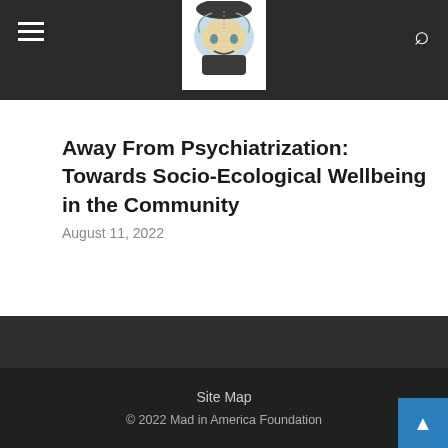Mad in America — navigation header with hamburger menu, logo, and search icon
Away From Psychiatrization: Towards Socio-Ecological Wellbeing in the Community
August 11, 2022
Help MIA Survive - Click to Donate Now
Site Map
© 2022 Mad in America Foundation